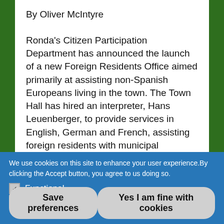By Oliver McIntyre
Ronda's Citizen Participation Department has announced the launch of a new Foreign Residents Office aimed primarily at assisting non-Spanish Europeans living in the town. The Town Hall has hired an interpreter, Hans Leuenberger, to provide services in English, German and French, assisting foreign residents with municipal administrative
We use cookies on this site to enhance your user experience.By clicking the Accept button, you agree to us doing so.
Functional
Advertising
Save preferences
Yes I am fine with cookies